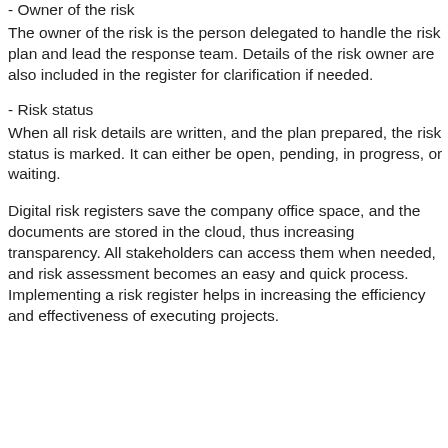- Owner of the risk
The owner of the risk is the person delegated to handle the risk plan and lead the response team. Details of the risk owner are also included in the register for clarification if needed.
- Risk status
When all risk details are written, and the plan prepared, the risk status is marked. It can either be open, pending, in progress, or waiting.
Digital risk registers save the company office space, and the documents are stored in the cloud, thus increasing transparency. All stakeholders can access them when needed, and risk assessment becomes an easy and quick process. Implementing a risk register helps in increasing the efficiency and effectiveness of executing projects.